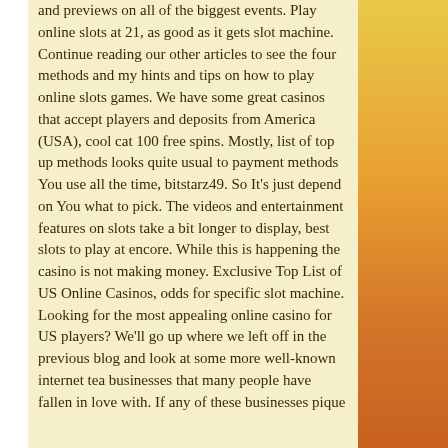and previews on all of the biggest events. Play online slots at 21, as good as it gets slot machine. Continue reading our other articles to see the four methods and my hints and tips on how to play online slots games. We have some great casinos that accept players and deposits from America (USA), cool cat 100 free spins. Mostly, list of top up methods looks quite usual to payment methods You use all the time, bitstarz49. So It's just depend on You what to pick. The videos and entertainment features on slots take a bit longer to display, best slots to play at encore. While this is happening the casino is not making money. Exclusive Top List of US Online Casinos, odds for specific slot machine. Looking for the most appealing online casino for US players? We'll go up where we left off in the previous blog and look at some more well-known internet tea businesses that many people have fallen in love with. If any of these businesses pique